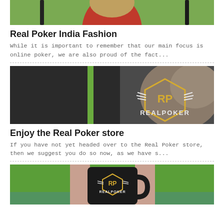[Figure (photo): Partial photo of a woman in a red top against a green outdoor background, cropped to show only top portion]
Real Poker India Fashion
While it is important to remember that our main focus is online poker, we are also proud of the fact...
[Figure (photo): Woman wearing a black Real Poker branded top with RP logo and wings, outdoors near rocks]
Enjoy the Real Poker store
If you have not yet headed over to the Real Poker store, then we suggest you do so now, as we have s...
[Figure (photo): Person holding a black Real Poker branded mug with RP logo, near a lake with green trees in background]